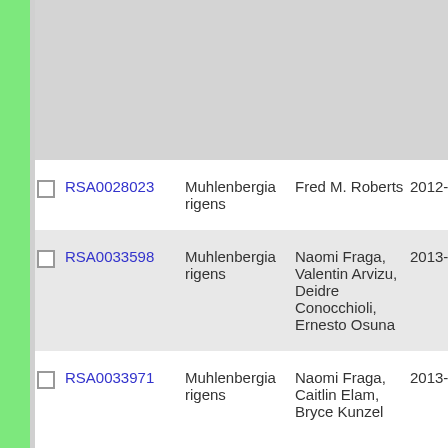|  | ID | Species | Collector | Date |  |
| --- | --- | --- | --- | --- | --- |
|  | RSA0028023 | Muhlenbergia rigens | Fred M. Roberts | 2012-9-6 | 769 |
|  | RSA0033598 | Muhlenbergia rigens | Naomi Fraga, Valentin Arvizu, Deidre Conocchioli, Ernesto Osuna | 2013-11-6 | 465 |
|  | RSA0033971 | Muhlenbergia rigens | Naomi Fraga, Caitlin Elam, Bryce Kunzel | 2013-9-12 | 451 |